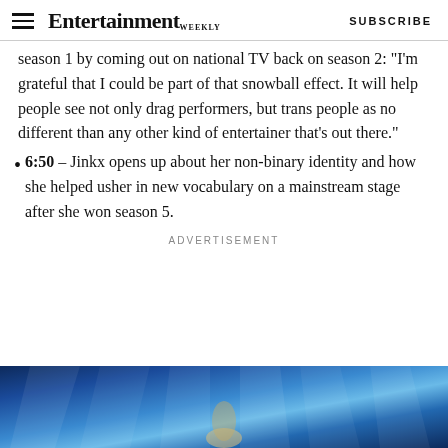Entertainment Weekly — SUBSCRIBE
season 1 by coming out on national TV back on season 2: "I'm grateful that I could be part of that snowball effect. It will help people see not only drag performers, but trans people as no different than any other kind of entertainer that's out there."
6:50 – Jinkx opens up about her non-binary identity and how she helped usher in new vocabulary on a mainstream stage after she won season 5.
ADVERTISEMENT
[Figure (photo): Stage performance photo with blue stage lighting and a performer visible at the bottom center]